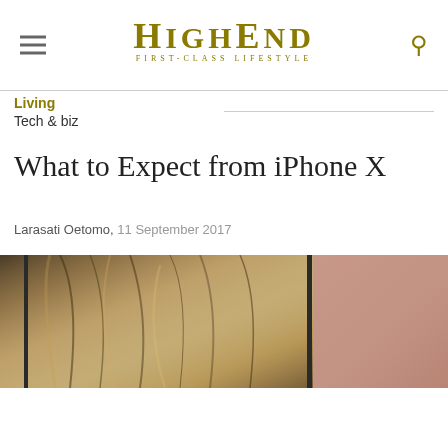HighEnd – First-Class Lifestyle
Living
Tech & biz
What to Expect from iPhone X
Larasati Oetomo,  11 September 2017
[Figure (photo): Hero image showing an iPhone X with a close-up of a person's hair/face, and a blurred skin-toned background on the right]